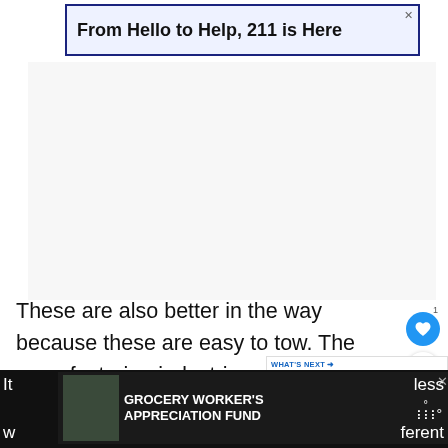[Figure (screenshot): Advertisement banner: 'From Hello to Help, 211 is Here' with dark blue border on light blue background]
[Figure (screenshot): Large empty advertisement area]
These are also better in the way because these are easy to tow. The manufacturing industries also use aluminum with bumper material and windshields of plastic material.
[Figure (screenshot): WHAT'S NEXT panel: 'How Much Does a Toyo...' with thumbnail image of a car]
[Figure (screenshot): Bottom advertisement banner: GROCERY WORKER'S APPRECIATION FUND with Kendall-Jackson and United Way logos]